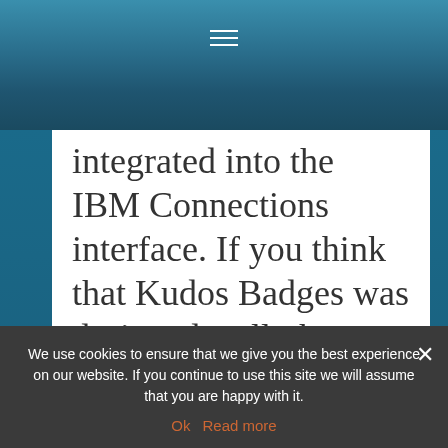☰
integrated into the IBM Connections interface. If you think that Kudos Badges was designed well, then Kudos Boards will rock your socks 🙂
Here's the session – it's in full HD and runs for 20 minutes, so make it full screen and enjoy!
We use cookies to ensure that we give you the best experience on our website. If you continue to use this site we will assume that you are happy with it.
Ok   Read more